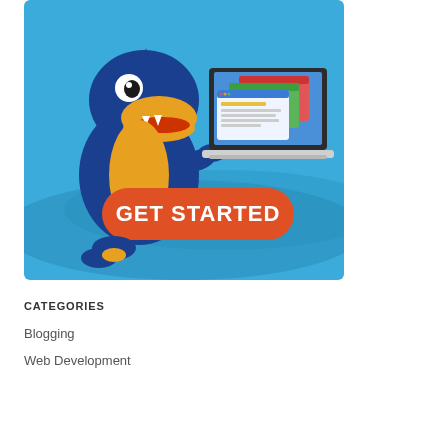[Figure (illustration): Hostgator mascot — a cartoon blue and yellow alligator/gator character holding a laptop displaying colorful website windows. Large orange rounded-rectangle button with white bold text reading 'GET STARTED'. Background is blue with wave graphics.]
CATEGORIES
Blogging
Web Development